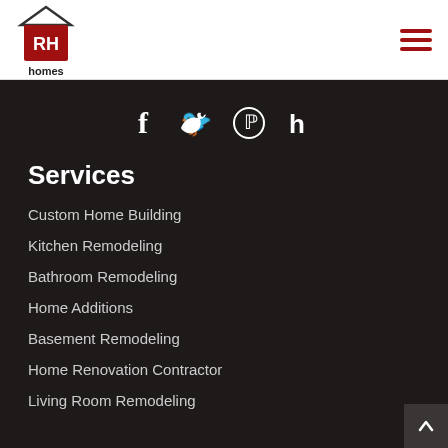[Figure (logo): RH Homes logo with red house/roof icon and 'RH' text in white on red background, 'homes' text below]
[Figure (other): Hamburger menu icon with three red horizontal lines]
[Figure (other): Social media icons: Facebook (f), Twitter (bird), Pinterest (p), Houzz (h) in white on dark background]
Services
Custom Home Building
Kitchen Remodeling
Bathroom Remodeling
Home Additions
Basement Remodeling
Home Renovation Contractor
Living Room Remodeling